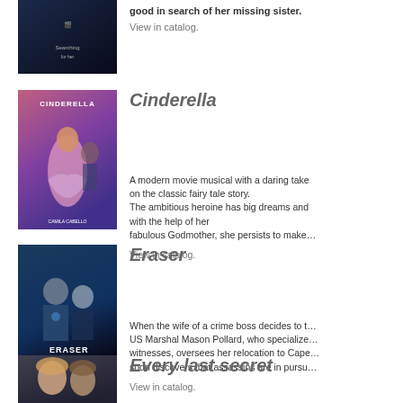good in search of her missing sister. View in catalog.
[Figure (photo): Movie cover for a film (partially visible at top)]
Cinderella
[Figure (photo): Cinderella movie DVD cover showing a woman in a purple dress]
A modern movie musical with a daring take on the classic fairy tale story. The ambitious heroine has big dreams and with the help of her fabulous Godmother, she persists to make them come true. View in catalog.
Eraser
[Figure (photo): Eraser Reborn movie cover showing two people in sci-fi attire]
When the wife of a crime boss decides to testify against him, US Marshal Mason Pollard, who specializes in protecting witnesses, oversees her relocation to Cape Town. But he soon discovers that assassins are in pursu. View in catalog.
Every last secret
[Figure (photo): Every last secret movie cover showing two people]